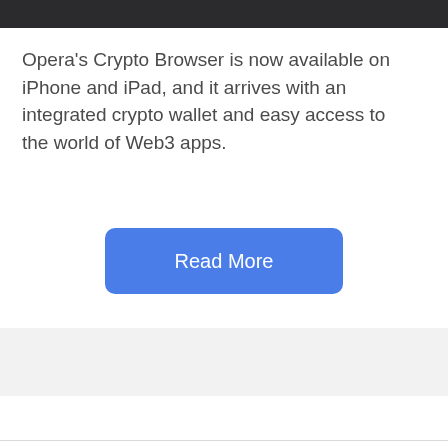[Figure (screenshot): Dark top bar (partial phone/browser UI element at the very top of the page)]
Opera's Crypto Browser is now available on iPhone and iPad, and it arrives with an integrated crypto wallet and easy access to the world of Web3 apps.
[Figure (other): Blue rounded rectangle button labeled 'Read More']